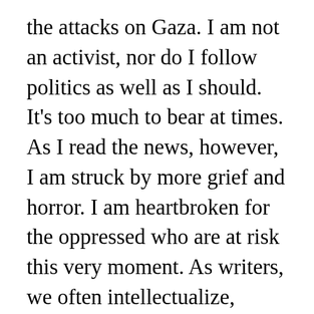the attacks on Gaza. I am not an activist, nor do I follow politics as well as I should. It's too much to bear at times. As I read the news, however, I am struck by more grief and horror. I am heartbroken for the oppressed who are at risk this very moment. As writers, we often intellectualize, shove our heads up our asses, theorize to make sense of things, but some situations are simply a primal scream. Innocent people are dying. Children were not born to become collateral